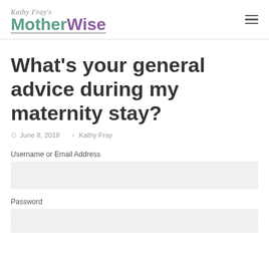Kathy Fray's MotherWise
What's your general advice during my maternity stay?
June 8, 2018  Kathy Fray
Username or Email Address
Password